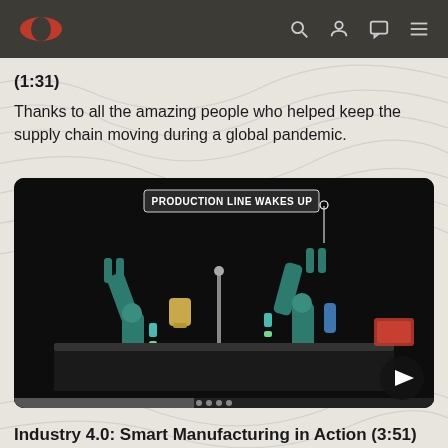Oracle (logo) | search, profile, chat, menu icons
(1:31)
Thanks to all the amazing people who helped keep the supply chain moving during a global pandemic.
[Figure (screenshot): Video thumbnail showing two robotic arms on a dark background with overlay text reading 'PRODUCTION LINE WAKES UP' and a play button in the bottom-right corner.]
Industry 4.0: Smart Manufacturing in Action (3:51)